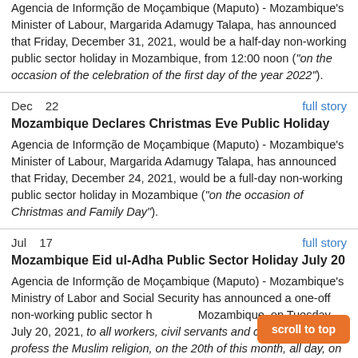Agencia de Informção de Moçambique (Maputo) - Mozambique's Minister of Labour, Margarida Adamugy Talapa, has announced that Friday, December 31, 2021, would be a half-day non-working public sector holiday in Mozambique, from 12:00 noon ("on the occasion of the celebration of the first day of the year 2022").
Dec  22    full story
Mozambique Declares Christmas Eve Public Holiday
Agencia de Informção de Moçambique (Maputo) - Mozambique's Minister of Labour, Margarida Adamugy Talapa, has announced that Friday, December 24, 2021, would be a full-day non-working public sector holiday in Mozambique ("on the occasion of Christmas and Family Day").
Jul   17    full story
Mozambique Eid ul-Adha Public Sector Holiday July 20
Agencia de Informção de Moçambique (Maputo) - Mozambique's Ministry of Labor and Social Security has announced a one-off non-working public sector holiday in Mozambique, on Tuesday, July 20, 2021, to all workers, civil servants and citizens who profess the Muslim religion, on the 20th of this month, all day, on the occasion of the celebration of Eid ul- Adha.